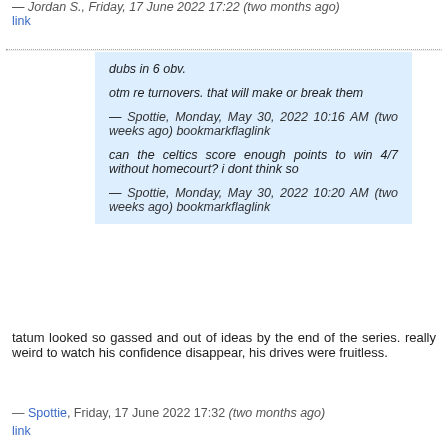— Jordan S., Friday, 17 June 2022 17:22 (two months ago)
link
dubs in 6 obv.

otm re turnovers. that will make or break them

— Spottie, Monday, May 30, 2022 10:16 AM (two weeks ago) bookmarkflaglink

can the celtics score enough points to win 4/7 without homecourt? i dont think so

— Spottie, Monday, May 30, 2022 10:20 AM (two weeks ago) bookmarkflaglink
tatum looked so gassed and out of ideas by the end of the series. really weird to watch his confidence disappear, his drives were fruitless.
— Spottie, Friday, 17 June 2022 17:32 (two months ago)
link